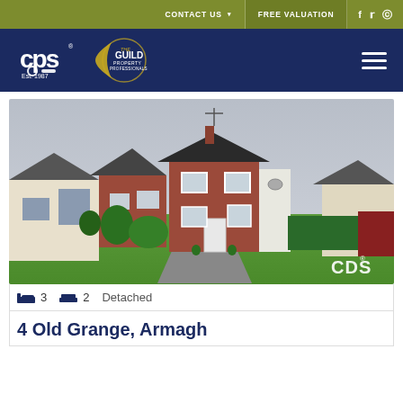CONTACT US  FREE VALUATION
[Figure (logo): CPS property estate agents logo with The Guild Property Professionals logo on dark navy background]
[Figure (photo): Exterior photo of a detached red-brick two-storey house with white trim, green lawn, driveway, and fencing. CDS watermark in bottom right corner.]
3  2  Detached
4 Old Grange, Armagh